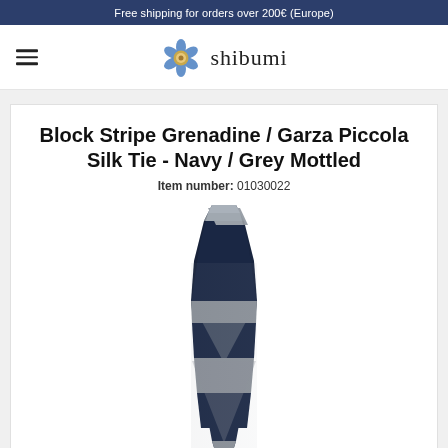Free shipping for orders over 200€ (Europe)
[Figure (logo): Shibumi logo with flower icon and text 'shibumi']
Block Stripe Grenadine / Garza Piccola Silk Tie - Navy / Grey Mottled
Item number: 01030022
[Figure (photo): Product photo of a navy and grey mottled block stripe grenadine silk tie]